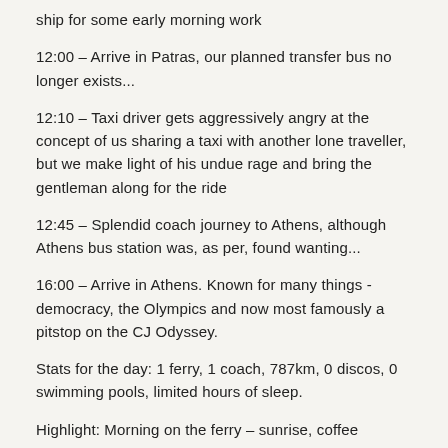ship for some early morning work
12:00 – Arrive in Patras, our planned transfer bus no longer exists...
12:10 – Taxi driver gets aggressively angry at the concept of us sharing a taxi with another lone traveller, but we make light of his undue rage and bring the gentleman along for the ride
12:45 – Splendid coach journey to Athens, although Athens bus station was, as per, found wanting...
16:00 – Arrive in Athens. Known for many things - democracy, the Olympics and now most famously a pitstop on the CJ Odyssey.
Stats for the day: 1 ferry, 1 coach, 787km, 0 discos, 0 swimming pools, limited hours of sleep.
Highlight: Morning on the ferry – sunrise, coffee